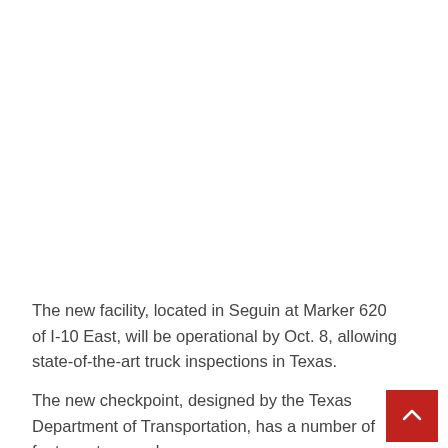The new facility, located in Seguin at Marker 620 of I-10 East, will be operational by Oct. 8, allowing state-of-the-art truck inspections in Texas.
The new checkpoint, designed by the Texas Department of Transportation, has a number of features to speed up